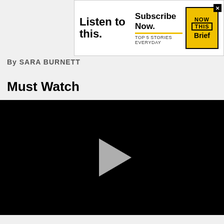[Figure (other): Advertisement banner: 'Listen to this. Subscribe Now. TOP 5 STORIES EVERYDAY' with NOW THIS Brief logo in yellow box]
By SARA BURNETT
Must Watch
[Figure (screenshot): Black video player with gray play button triangle in center]
In This Together: Teens Help At-Risk Individuals, Photo Series Celebrates Black Girls